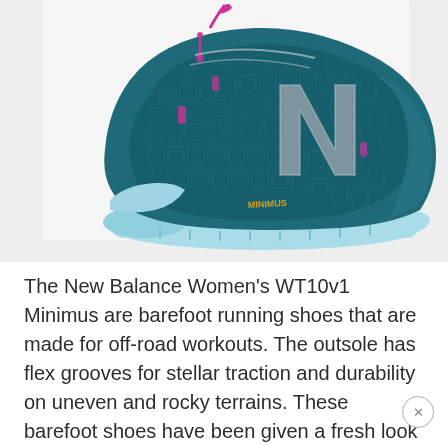[Figure (photo): New Balance Women's WT10v1 Minimus barefoot running shoe in teal/dark teal colorway with light blue outsole, pink accents, and silver New Balance logo, shown from the side on white/light gray background.]
The New Balance Women's WT10v1 Minimus are barefoot running shoes that are made for off-road workouts. The outsole has flex grooves for stellar traction and durability on uneven and rocky terrains. These barefoot shoes have been given a fresh look with their synthetic upper and breathable mesh. There is a great color range available too.